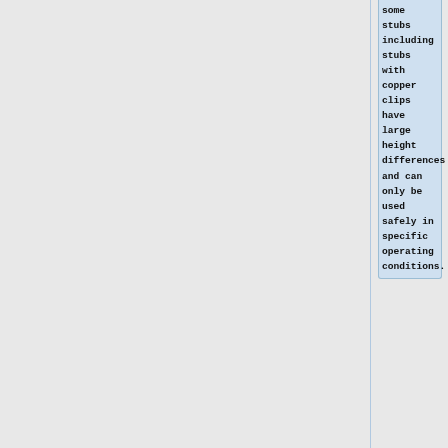some stubs including stubs with copper clips have large height differences and can only be used safely in specific operating conditions.
**
[https://www.tedpella.com/sem_html/SEMpinmount.h